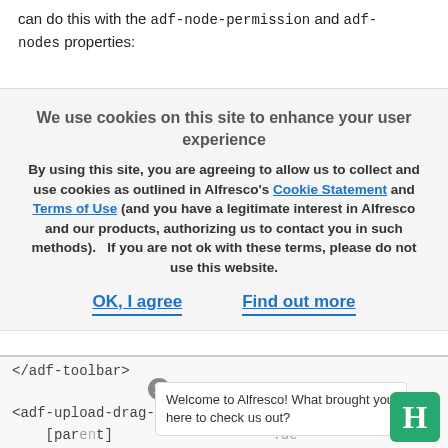can do this with the adf-node-permission and adf-nodes properties:
We use cookies on this site to enhance your user experience
By using this site, you are agreeing to allow us to collect and use cookies as outlined in Alfresco’s Cookie Statement and Terms of Use (and you have a legitimate interest in Alfresco and our products, authorizing us to contact you in such methods).   If you are not ok with these terms, please do not use this website.
OK, I agree   Find out more
</adf-toolbar>

<adf-upload-drag-area
  [parent] .de
||  '-root-
  [adf-node-permission|="'create'"
Welcome to Alfresco! What brought you here to check us out?